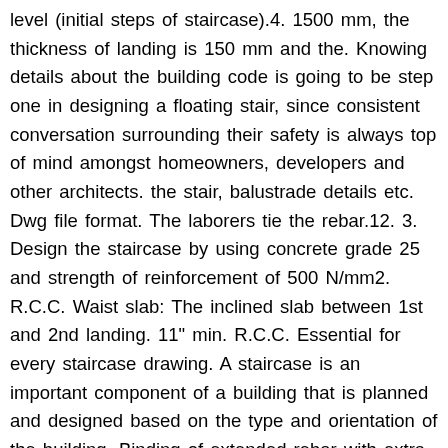level (initial steps of staircase).4. 1500 mm, the thickness of landing is 150 mm and the. Knowing details about the building code is going to be step one in designing a floating stair, since consistent conversation surrounding their safety is always top of mind amongst homeowners, developers and other architects. the stair, balustrade details etc. Dwg file format. The laborers tie the rebar.12. 3. Design the staircase by using concrete grade 25 and strength of reinforcement of 500 N/mm2. R.C.C. Waist slab: The inclined slab between 1st and 2nd landing. 11" min. R.C.C. Essential for every staircase drawing. A staircase is an important component of a building that is planned and designed based on the type and orientation of the building. Binding of extended rebar with extra top distribution rebar at early step of staircase.18. A set of over 30 staircase-layouts is available, and the layouts come in both PDF and DWG formats, with complete measurements and annotations. Construction detail to build reinforced concrete steps (rise and tread) of a staircase. The width of the staircase is 1160mm. 10 CHAPTER 10 STAIRCASES site